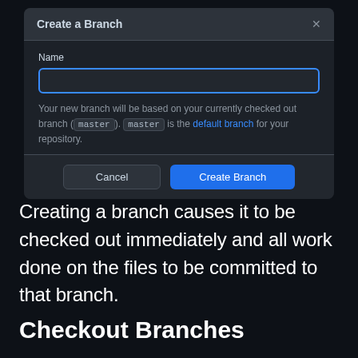[Figure (screenshot): A dark-themed dialog box titled 'Create a Branch' with a Name text input field (with blue border), an info message about the new branch being based on the currently checked out branch (master), and two buttons: Cancel and Create Branch.]
Creating a branch causes it to be checked out immediately and all work done on the files to be committed to that branch.
Checkout Branches